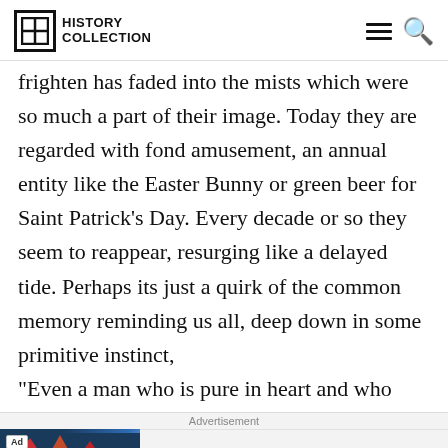History Collection
frighten has faded into the mists which were so much a part of their image. Today they are regarded with fond amusement, an annual entity like the Easter Bunny or green beer for Saint Patrick's Day. Every decade or so they seem to reappear, resurging like a delayed tide. Perhaps its just a quirk of the common memory reminding us all, deep down in some primitive instinct, “Even a man who is pure in heart and who says his
Advertisement
[Figure (other): Advertisement banner for Rollic game 'They Are Coming!' with a purple logo and download button]